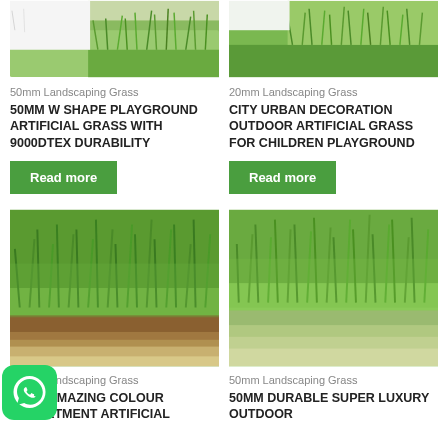[Figure (photo): Top-left artificial grass product photo, corner view on white background]
50mm Landscaping Grass
50MM W SHAPE PLAYGROUND ARTIFICIAL GRASS WITH 9000DTEX DURABILITY
Read more
[Figure (photo): Top-right artificial grass product photo, corner view on white background]
20mm Landscaping Grass
CITY URBAN DECORATION OUTDOOR ARTIFICIAL GRASS FOR CHILDREN PLAYGROUND
Read more
[Figure (photo): Bottom-left artificial grass product photo, close-up angled view showing green blades and brown/tan backing]
50mm Landscaping Grass
50MM AMAZING COLOUR ASSORTMENT ARTIFICIAL
[Figure (photo): Bottom-right artificial grass product photo, close-up angled view of lush green grass]
50mm Landscaping Grass
50MM DURABLE SUPER LUXURY OUTDOOR